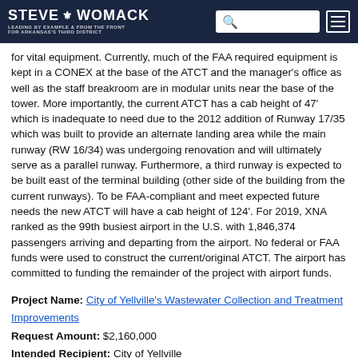STEVE WOMACK — LEADING BY EXAMPLE & FROM THE FRONT FOR ARKANSAS'S THIRD DISTRICT
for vital equipment. Currently, much of the FAA required equipment is kept in a CONEX at the base of the ATCT and the manager's office as well as the staff breakroom are in modular units near the base of the tower. More importantly, the current ATCT has a cab height of 47' which is inadequate to need due to the 2012 addition of Runway 17/35 which was built to provide an alternate landing area while the main runway (RW 16/34) was undergoing renovation and will ultimately serve as a parallel runway. Furthermore, a third runway is expected to be built east of the terminal building (other side of the building from the current runways). To be FAA-compliant and meet expected future needs the new ATCT will have a cab height of 124'. For 2019, XNA ranked as the 99th busiest airport in the U.S. with 1,846,374 passengers arriving and departing from the airport. No federal or FAA funds were used to construct the current/original ATCT. The airport has committed to funding the remainder of the project with airport funds.
Project Name: City of Yellville's Wastewater Collection and Treatment Improvements
Request Amount: $2,160,000
Intended Recipient: City of Yellville
Address of Intended Recipient: P.O. Box 47 Yellville, Arkansas